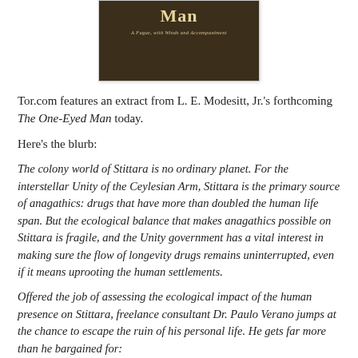[Figure (illustration): Book cover image for 'The One-Eyed Man: A Fugue, with Winds and Accompaniment' showing grassy/earthy tones with stylized title text and subtitle]
Tor.com features an extract from L. E. Modesitt, Jr.'s forthcoming The One-Eyed Man today.
Here's the blurb:
The colony world of Stittara is no ordinary planet. For the interstellar Unity of the Ceylesian Arm, Stittara is the primary source of anagathics: drugs that have more than doubled the human life span. But the ecological balance that makes anagathics possible on Stittara is fragile, and the Unity government has a vital interest in making sure the flow of longevity drugs remains uninterrupted, even if it means uprooting the human settlements.
Offered the job of assessing the ecological impact of the human presence on Stittara, freelance consultant Dr. Paulo Verano jumps at the chance to escape the ruin of his personal life. He gets far more than he bargained for: